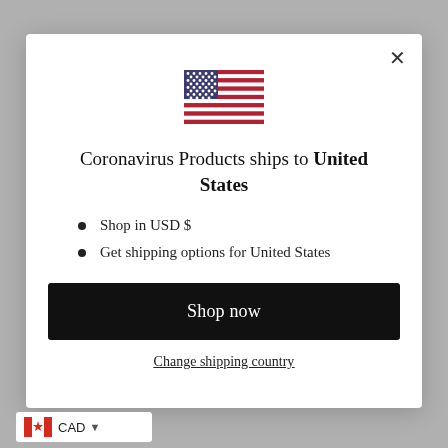[Figure (illustration): US flag emoji/icon centered at top of modal]
Coronavirus Products ships to United States
Shop in USD $
Get shipping options for United States
Shop now
Change shipping country